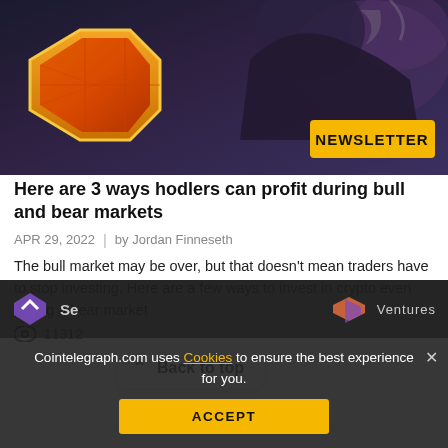[Figure (illustration): Stylized comic/cartoon illustration of a person holding a large orange/red hexagonal crypto coin, with smoke or energy in the background. A yellow 'NEWSLETTER' badge overlaid in the bottom right of the image.]
Here are 3 ways hodlers can profit during bull and bear markets
APR 29, 2022  |  by Jordan Finneseth
The bull market may be over, but that doesn't mean traders have to stop investing. Here are a few ways to invest in crypto even during a bear market
11312
[Figure (screenshot): Back to top tooltip bubble with upward chevron arrow and text 'Back to top']
[Figure (photo): Partially visible sponsor/advertisement banner showing SevenX Ventures logo (purple diamond shapes with arrow) and Ventures text, with a person's silhouette in foreground]
Cointelegraph.com uses Cookies to ensure the best experience for you.
ACCEPT